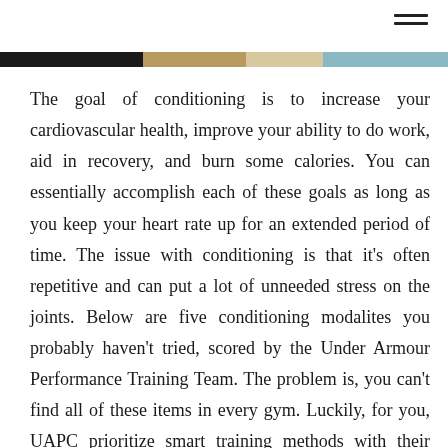[Figure (photo): Top image strip showing a cropped photograph with dark, golden, and light blue tones]
The goal of conditioning is to increase your cardiovascular health, improve your ability to do work, aid in recovery, and burn some calories. You can essentially accomplish each of these goals as long as you keep your heart rate up for an extended period of time. The issue with conditioning is that it's often repetitive and can put a lot of unneeded stress on the joints. Below are five conditioning modalites you probably haven't tried, scored by the Under Armour Performance Training Team. The problem is, you can't find all of these items in every gym. Luckily, for you, UAPC prioritize smart training methods with their equipment selection!